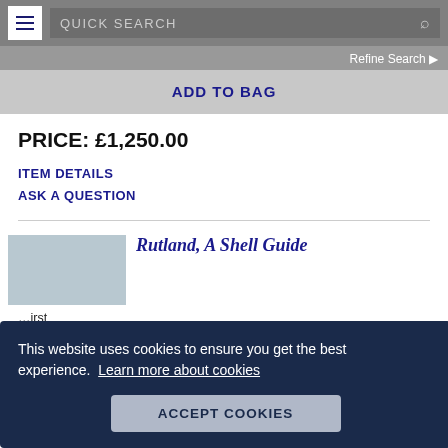QUICK SEARCH | Refine Search
ADD TO BAG
PRICE: £1,250.00
ITEM DETAILS
ASK A QUESTION
[Figure (photo): Book cover image thumbnail]
Rutland, A Shell Guide
...first ... a red on ... rubbed at ... tiny loss to the head of the spine. There is a light scratch
This website uses cookies to ensure you get the best experience. Learn more about cookies
ACCEPT COOKIES